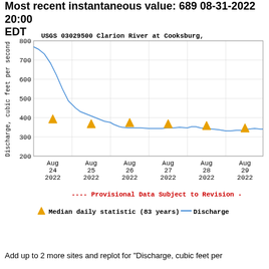Most recent instantaneous value: 689 08-31-2022  20:00 EDT
[Figure (continuous-plot): Line chart showing discharge in cubic feet per second for USGS 03029500 Clarion River at Cooksburg from Aug 24 2022 to Aug 29+ 2022. The line starts around 770 on Aug 24, drops steeply to ~470 by Aug 25, continues declining to ~375 by Aug 26, then flattens around 340-355 through Aug 27-29. Orange triangle markers (Median daily statistic, 83 years) appear at each date around 340-380 range. A red dashed banner reads Provisional Data Subject to Revision.]
---- Provisional Data Subject to Revision -
△  Median daily statistic (83 years) — Discharge
Add up to 2 more sites and replot for "Discharge, cubic feet per